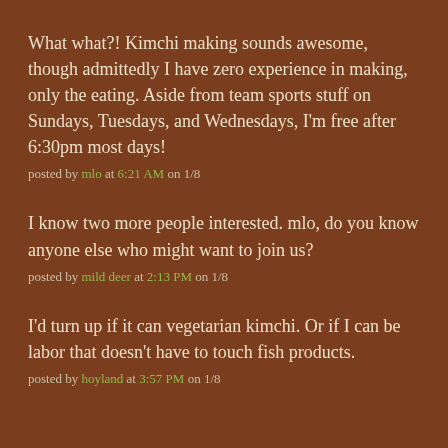What what?! Kimchi making sounds awesome, though admittedly I have zero experience in making, only the eating. Aside from team sports stuff on Sundays, Tuesdays, and Wednesdays, I'm free after 6:30pm most days!
posted by mlo at 6:21 AM on 1/8
I know two more people interested. mlo, do you know anyone else who might want to join us?
posted by mild deer at 2:13 PM on 1/8
I'd turn up if it can vegetarian kimchi. Or if I can be labor that doesn't have to touch fish products.
posted by hoyland at 3:57 PM on 1/8